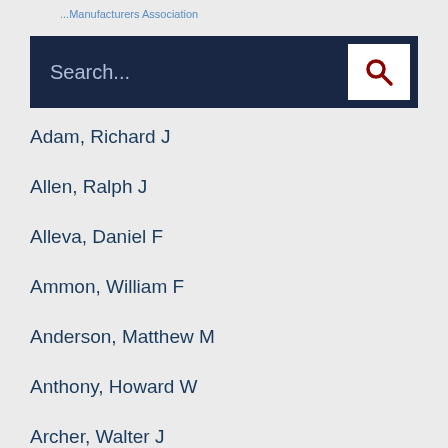...Manufacturers Association
Adam, Richard J
Allen, Ralph J
Alleva, Daniel F
Ammon, William F
Anderson, Matthew M
Anthony, Howard W
Archer, Walter J
Armstrong, Thomas G
Arvay, Joseph G